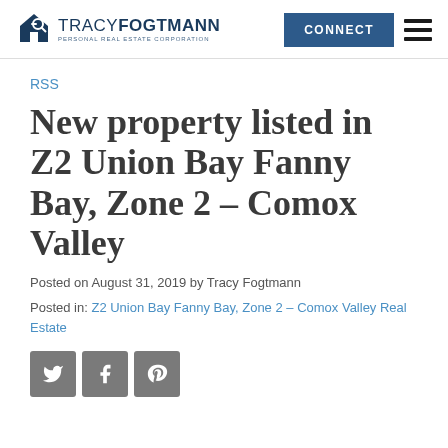Tracy Fogtmann Personal Real Estate Corporation — CONNECT
RSS
New property listed in Z2 Union Bay Fanny Bay, Zone 2 – Comox Valley
Posted on August 31, 2019 by Tracy Fogtmann
Posted in: Z2 Union Bay Fanny Bay, Zone 2 – Comox Valley Real Estate
[Figure (other): Social sharing icons: Twitter, Facebook, Pinterest]